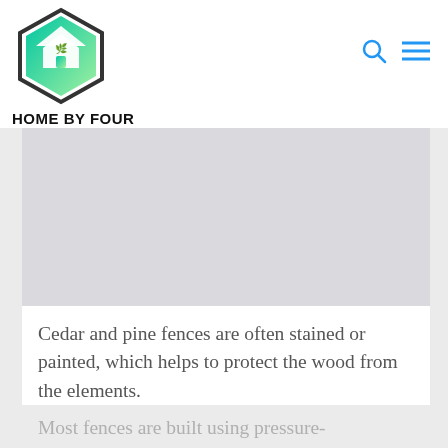[Figure (logo): Home By Four hexagonal logo with house icon in green gradient]
HOME BY FOUR
[Figure (photo): Image placeholder area (gray box representing a fence or home improvement photo)]
Cedar and pine fences are often stained or painted, which helps to protect the wood from the elements.
Most fences are built using pressure-